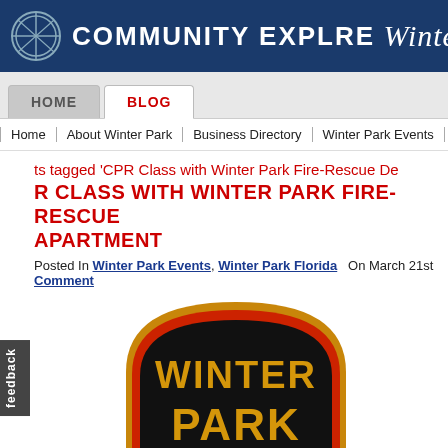COMMUNITY EXPLORER Winter Park, Florida
BLOG
Home | About Winter Park | Business Directory | Winter Park Events | Adv
Posts tagged 'CPR Class with Winter Park Fire-Rescue De
CPR CLASS WITH WINTER PARK FIRE-RESCUE DEPARTMENT
Posted In Winter Park Events, Winter Park Florida  On March 21st  Comment
[Figure (logo): Winter Park Fire-Rescue Department badge/patch showing 'WINTER PARK' text in gold on black background with orange/gold border]